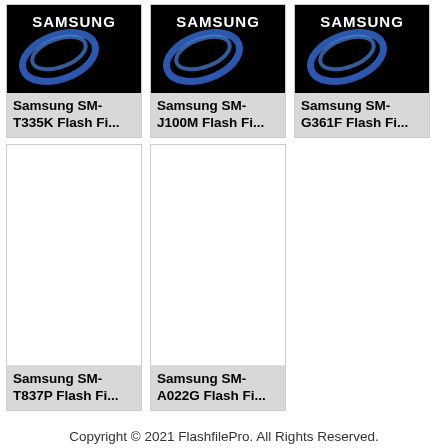[Figure (screenshot): Samsung SM-T335K product card with Samsung logo on black background]
Samsung SM-T335K Flash Fi...
[Figure (screenshot): Samsung SM-J100M product card with Samsung logo on black background]
Samsung SM-J100M Flash Fi...
[Figure (screenshot): Samsung SM-G361F product card with Samsung logo on black background]
Samsung SM-G361F Flash Fi...
[Figure (screenshot): Samsung SM-T837P product card with blank white image]
Samsung SM-T837P Flash Fi...
[Figure (screenshot): Samsung SM-A022G product card with blank white image]
Samsung SM-A022G Flash Fi...
Copyright © 2021 FlashfilePro. All Rights Reserved.
Contact Us • Privacy Policy